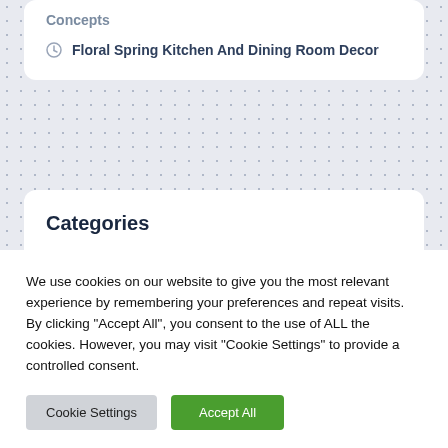Concepts
Floral Spring Kitchen And Dining Room Decor
Categories
Bathroom Ideas
Business Products & Services
We use cookies on our website to give you the most relevant experience by remembering your preferences and repeat visits. By clicking "Accept All", you consent to the use of ALL the cookies. However, you may visit "Cookie Settings" to provide a controlled consent.
Cookie Settings | Accept All